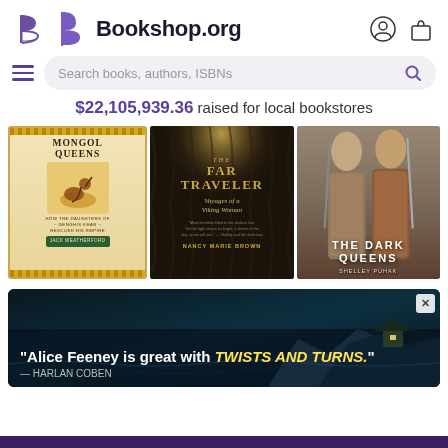Bookshop.org
Search books, authors, ISBNs
$22,105,939.36 raised for local bookstores
[Figure (photo): Three book covers displayed side by side: 1) Mongol Queens by Jack Weatherford - 2) The Far Traveler: Voyages of a Viking Woman by Nancy Marie Brown - 3) The Dark Queens by Shelley Puhak]
[Figure (photo): Advertisement banner with dark moody coastal scene. Text reads: "Alice Feeney is great with TWISTS AND TURNS." — HARLAN COBEN. Close button (x) in top right.]